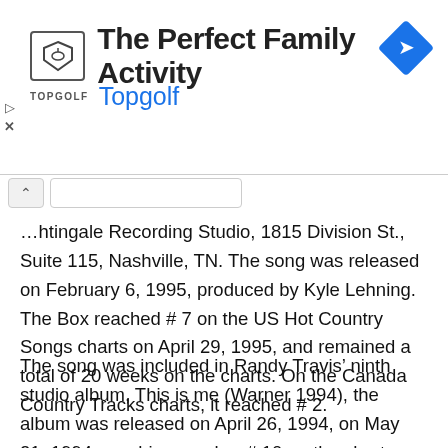[Figure (other): Topgolf advertisement banner with logo, title 'The Perfect Family Activity', subtitle 'Topgolf', and a blue diamond arrow icon on the right.]
...htingale Recording Studio, 1815 Division St., Suite 115, Nashville, TN. The song was released on February 6, 1995, produced by Kyle Lehning. The Box reached # 7 on the US Hot Country Songs charts on April 29, 1995, and remained a total of 20 weeks on the charts. On the Canada Country Tracks charts, it reached # 2.
The song was included in Randy Travis' ninth studio album, This is me (Warner 1994), the album was released on April 26, 1994, on May 21, 1994, reaching number # 10 on the charts.